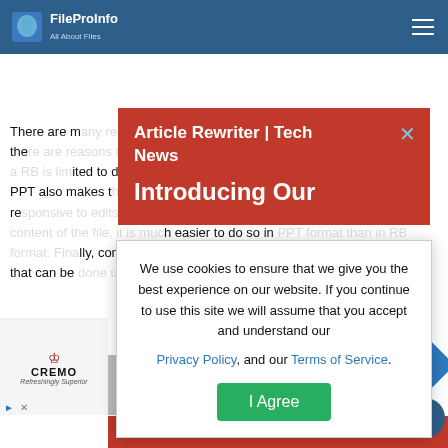FileProInfo – All About Files
RB to PPT Converter – convert rb to ppt online & free
There are many reasons to first convert your RB file to PPT. Perhaps the most favoured reason is that a PPT can be read on any device, whereas a RB is limited to devices that support the RB format. Converting a RB to PPT also makes the file more editable, as PPT files tend to be more responsive to edits. Additionally, if you want to make changes to the content of the file, it is much easier to do so in PPT format than in RB format. Finally, converting a RB to PPT is a very fast and simple process that can be done using our online RB to PPT converter online
RB to PPT
[Figure (screenshot): Red popup banner with title 'Article Rewriter | Tech News' and 'Introducing Our' text with close X button]
[Figure (screenshot): Cookie consent dialog: 'We use cookies to ensure that we give you the best experience on our website. If you continue to use this site we will assume that you accept and understand our Privacy Policy, and our Terms of Service.' with I Agree button]
[Figure (screenshot): Cremo advertisement on bottom left]
[Figure (screenshot): Bottom red banner with '80+ Free SEO Tools' text]
[Figure (screenshot): Navigation arrow and scroll-to-top circle button]